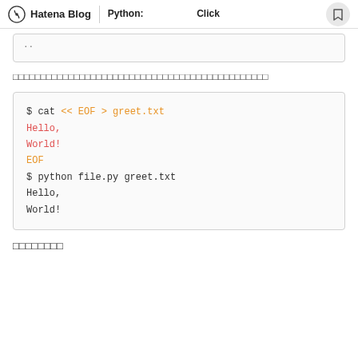Hatena Blog | Python: xxxxxxxxxx Click xxxxxx
..
xxxxxxxxxxxxxxxxxxxxxxxxxxxxxxxxxxxxxxxxxxxxxxxxx
$ cat << EOF > greet.txt
Hello,
World!
EOF
$ python file.py greet.txt
Hello,
World!
xxxxxxxx